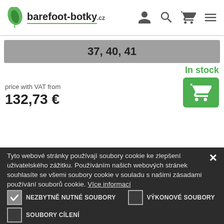barefoot-botky.cz
37, 40, 41
In stock
price with VAT from
132,73 €
Tyto webové stránky používají soubory cookie ke zlepšení uživatelského zážitku. Používáním našich webových stránek souhlasíte se všemi soubory cookie v souladu s našimi zásadami používání souborů cookie. Více informací
NEZBYTNĚ NUTNÉ SOUBORY
VÝKONOVÉ SOUBORY
SOUBORY CÍLENÍ
ZOBRAZIT PODROBNOSTI
VŠE PŘIJMOUT
VŠE ODMÍTNOUT
POWERED BY COOKIE-SCRIPT